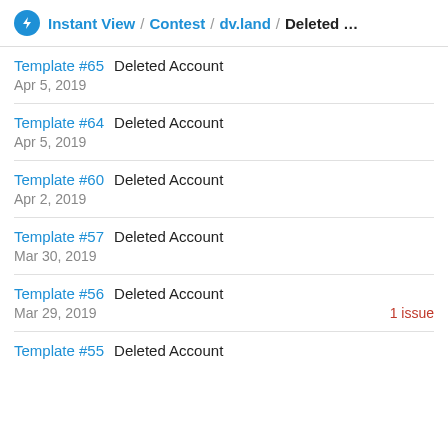Instant View / Contest / dv.land / Deleted ...
Template #65  Deleted Account
Apr 5, 2019
Template #64  Deleted Account
Apr 5, 2019
Template #60  Deleted Account
Apr 2, 2019
Template #57  Deleted Account
Mar 30, 2019
Template #56  Deleted Account
Mar 29, 2019  1 issue
Template #55  Deleted Account